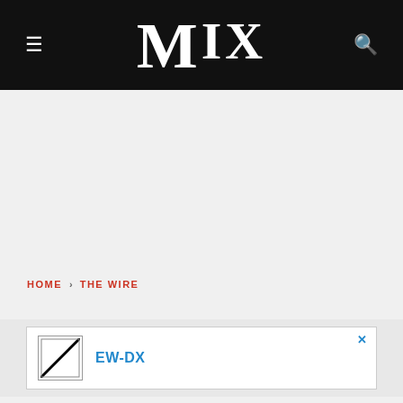MIX
HOME › THE WIRE
[Figure (logo): Advertisement banner with Sennheiser logo and text EW-DX with a close button (x)]